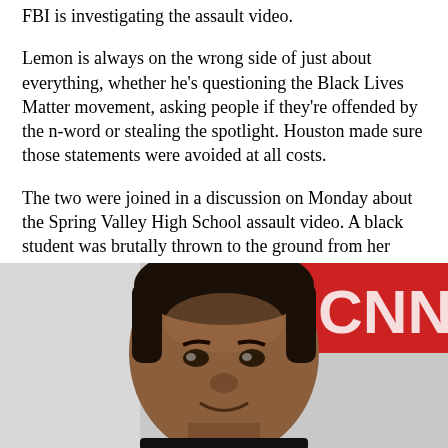FBI is investigating the assault video.
Lemon is always on the wrong side of just about everything, whether he’s questioning the Black Lives Matter movement, asking people if they’re offended by the n-word or stealing the spotlight. Houston made sure those statements were avoided at all costs.
The two were joined in a discussion on Monday about the Spring Valley High School assault video. A black student was brutally thrown to the ground from her desk by Richland County, S.C., Sheriff’s Deputy Ben Fields, a school resource officer. Fields then dragged the student across the floor.
[Figure (photo): A man (Don Lemon) smiling at camera with CNN logo visible in the background on the right side. Light background on the left.]